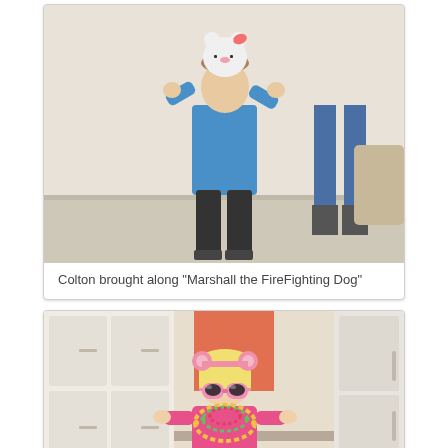[Figure (photo): Young boy in a blue shirt and dark pants holding up a Hello Kitty stuffed animal toy, standing in a living room with windows and carpet visible, adult legs in jeans visible in background]
Colton brought along "Marshall the FireFighting Dog"
[Figure (photo): Young toddler girl dressed in pink outfit wearing pink sunglasses and colorful bead necklaces, with pink piggy-ear headband, standing in a kitchen area]